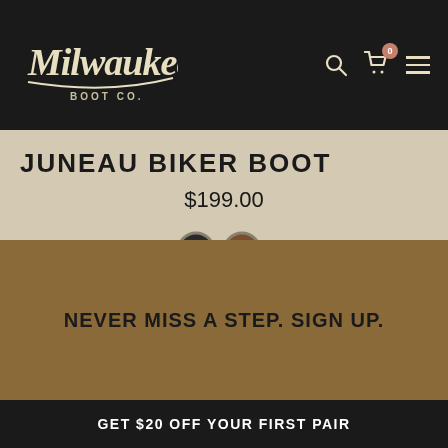[Figure (logo): Milwaukee Boot Co. logo in script font on dark header]
JUNEAU BIKER BOOT
$199.00
[Figure (illustration): Two color swatches: black and brown circles]
BACK TO TOP ^
NEVER MISS A STEP. SIGN UP.
GET $20 OFF YOUR FIRST PAIR